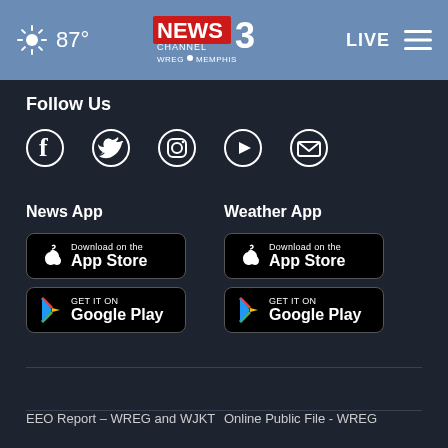[Figure (screenshot): WREG News Channel 3 Memphis website header with weather (87°), logo, LIVE button and menu icon on blue background]
Follow Us
[Figure (infographic): Social media icons: Facebook, Twitter, Instagram, YouTube, Email]
News App
[Figure (other): Download on the App Store button]
[Figure (other): Get it on Google Play button]
Weather App
[Figure (other): Download on the App Store button]
[Figure (other): Get it on Google Play button]
EEO Report – WREG and WJKT
Online Public File - WREG